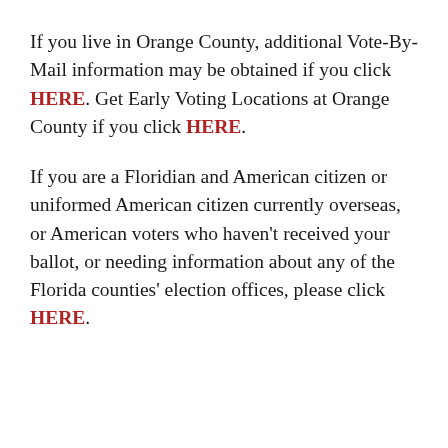If you live in Orange County, additional Vote-By-Mail information may be obtained if you click HERE. Get Early Voting Locations at Orange County if you click HERE.
If you are a Floridian and American citizen or uniformed American citizen currently overseas, or American voters who haven't received your ballot, or needing information about any of the Florida counties' election offices, please click HERE.